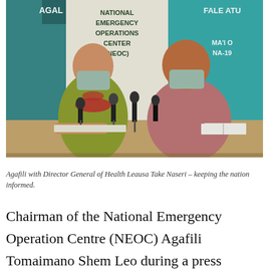[Figure (photo): Two men wearing face masks and floral shirts seated at a press conference table with microphones in front of them. Banners behind them read 'NATIONAL EMERGENCY OPERATIONS CENTER (NEOC)' and other text including 'AGAL' and 'FALE ATU'. The man on the left wears a red lei over a yellow-green shirt; the man on the right wears a pink patterned shirt.]
Agafili with Director General of Health Leausa Take Naseri – keeping the nation informed.
Chairman of the National Emergency Operation Centre (NEOC) Agafili Tomaimano Shem Leo during a press conference this week advised and pleaded with all returning Samoan residents from overseas, to please exercise patience while in